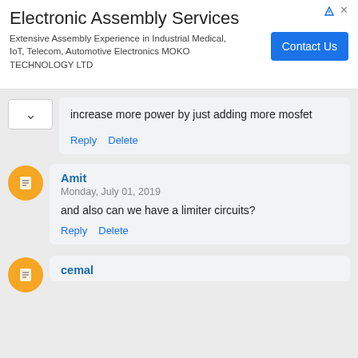[Figure (screenshot): Ad banner for Electronic Assembly Services by MOKO TECHNOLOGY LTD with a blue Contact Us button]
increase more power by just adding more mosfet
Reply  Delete
Amit
Monday, July 01, 2019
and also can we have a limiter circuits?
Reply  Delete
cemal